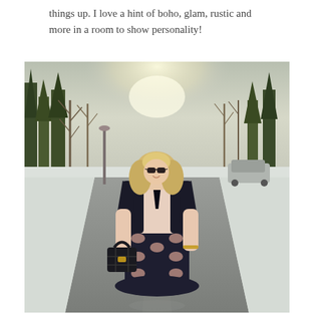things up. I love a hint of boho, glam, rustic and more in a room to show personality!
[Figure (photo): A smiling blonde woman wearing sunglasses, a black blazer/cape coat, a black neck tie, a light pink blouse, a black and pink bow-print skirt, and carrying a black quilted handbag, standing on a snowy tree-lined road in winter.]